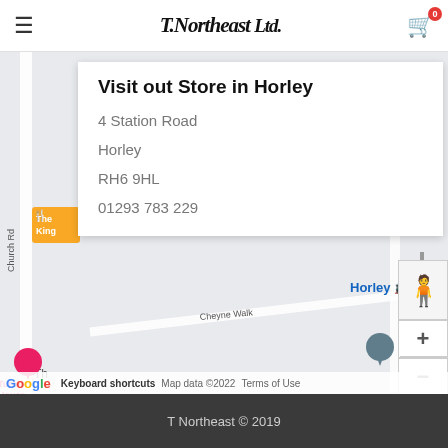T.Northeast Ltd (hamburger menu, cart with badge 0)
[Figure (map): Google Maps screenshot showing Horley area with streets including Victoria Road, Cheyne Walk, Church Road. Shows Horley train station marker, Sliding Sash Solutions, Turret House pin, and other local landmarks. Map data ©2022. Includes zoom controls and street view person icon.]
Visit out Store in Horley
4 Station Road
Horley
RH6 9HL
01293 783 229
T Northeast © 2019